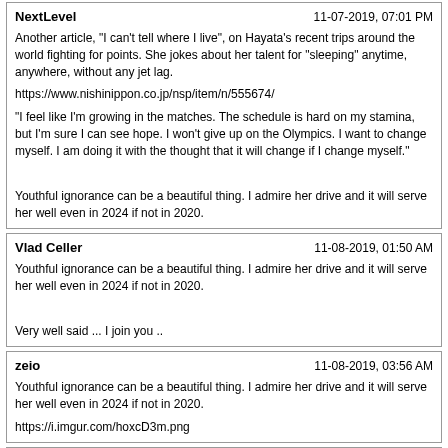NextLevel | 11-07-2019, 07:01 PM
Another article, "I can't tell where I live", on Hayata's recent trips around the world fighting for points. She jokes about her talent for "sleeping" anytime, anywhere, without any jet lag.
https://www.nishinippon.co.jp/nsp/item/n/555674/
"I feel like I'm growing in the matches. The schedule is hard on my stamina, but I'm sure I can see hope. I won't give up on the Olympics. I want to change myself. I am doing it with the thought that it will change if I change myself."
Youthful ignorance can be a beautiful thing. I admire her drive and it will serve her well even in 2024 if not in 2020.
Vlad Celler | 11-08-2019, 01:50 AM
Youthful ignorance can be a beautiful thing. I admire her drive and it will serve her well even in 2024 if not in 2020.
Very well said ... I join you ..
zeio | 11-08-2019, 03:56 AM
Youthful ignorance can be a beautiful thing. I admire her drive and it will serve her well even in 2024 if not in 2020.
https://i.imgur.com/hoxcD3m.png
Takkyu_wa_inochi | 11-08-2019, 07:05 AM
by the way "Sayaka" is a first name. Her full name was Sayaka HIRANO.